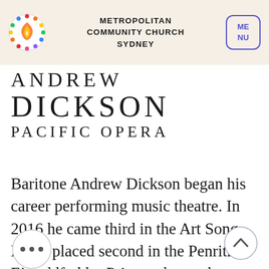Metropolitan Community Church Sydney
ANDREW DICKSON PACIFIC OPERA
Baritone Andrew Dickson began his career performing music theatre. In 2016 he came third in the Art Song Prize, placed second in the Penrith Eisteddfod ler Prize and won the Penrith City Aria Prize.